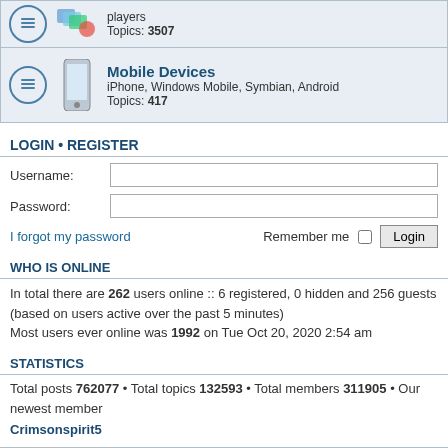[Figure (screenshot): Forum row showing players topic with icon, Topics: 3507]
[Figure (screenshot): Forum row for Mobile Devices - iPhone, Windows Mobile, Symbian, Android, Topics: 417]
LOGIN • REGISTER
Username:
Password:
I forgot my password
Remember me  Login
WHO IS ONLINE
In total there are 262 users online :: 6 registered, 0 hidden and 256 guests (based on users active over the past 5 minutes)
Most users ever online was 1992 on Tue Oct 20, 2020 2:54 am
STATISTICS
Total posts 762077 • Total topics 132593 • Total members 311905 • Our newest member Crimsonspirit5
Home • Board index    All times are UTC+08:00
We use cookies to provide you with the best browsing experience.By using our website,you agree to our Terms of Service and use of cookies. Terms of Use